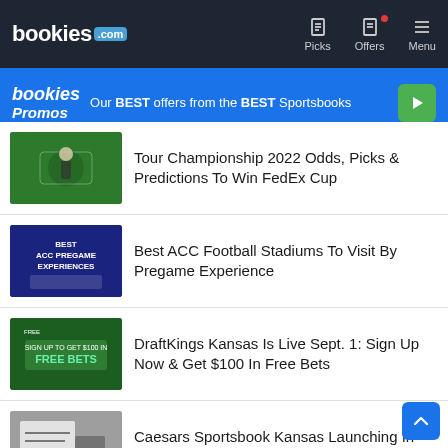bookies.com — Picks | Offers | Menu
[Figure (infographic): bookies Promos banner: 'Our BEST offers from the BEST Sportsbooks' with green play button]
Tour Championship 2022 Odds, Picks & Predictions To Win FedEx Cup
Best ACC Football Stadiums To Visit By Pregame Experience
DraftKings Kansas Is Live Sept. 1: Sign Up Now & Get $100 In Free Bets
Caesars Sportsbook Kansas Launching In September: Here's What To Know
2022 NBA Opening Night Odds, Betting Predictions & Best Bets